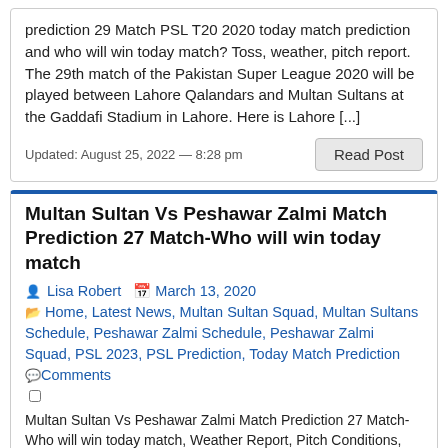prediction 29 Match PSL T20 2020 today match prediction and who will win today match? Toss, weather, pitch report. The 29th match of the Pakistan Super League 2020 will be played between Lahore Qalandars and Multan Sultans at the Gaddafi Stadium in Lahore. Here is Lahore [...]
Updated: August 25, 2022 — 8:28 pm
Read Post
Multan Sultan Vs Peshawar Zalmi Match Prediction 27 Match-Who will win today match
Lisa Robert   March 13, 2020
Home, Latest News, Multan Sultan Squad, Multan Sultans Schedule, Peshawar Zalmi Schedule, Peshawar Zalmi Squad, PSL 2023, PSL Prediction, Today Match Prediction
Comments
Multan Sultan Vs Peshawar Zalmi Match Prediction 27 Match-Who will win today match, Weather Report, Pitch Conditions, Playing XIs, and Live Streaming Details. Multan Sultans vs